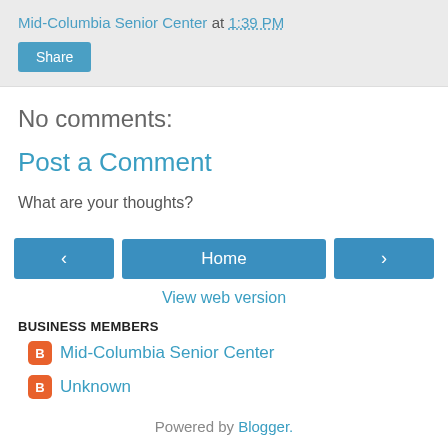Mid-Columbia Senior Center at 1:39 PM
Share
No comments:
Post a Comment
What are your thoughts?
‹  Home  ›
View web version
BUSINESS MEMBERS
Mid-Columbia Senior Center
Unknown
Powered by Blogger.